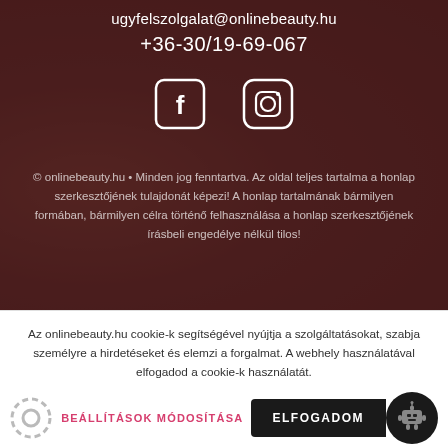ugyfelszolgalat@onlinebeauty.hu
+36-30/19-69-067
[Figure (illustration): Facebook and Instagram social media icons (white outlined squares with f and camera icons)]
© onlinebeauty.hu • Minden jog fenntartva. Az oldal teljes tartalma a honlap szerkesztőjének tulajdonát képezi! A honlap tartalmának bármilyen formában, bármilyen célra történő felhasználása a honlap szerkesztőjének írásbeli engedélye nélkül tilos!
Az onlinebeauty.hu cookie-k segítségével nyújtja a szolgáltatásokat, szabja személyre a hirdetéseket és elemzi a forgalmat. A webhely használatával elfogadod a cookie-k használatát.
BEÁLLÍTÁSOK MÓDOSÍTÁSA
ELFOGADOM